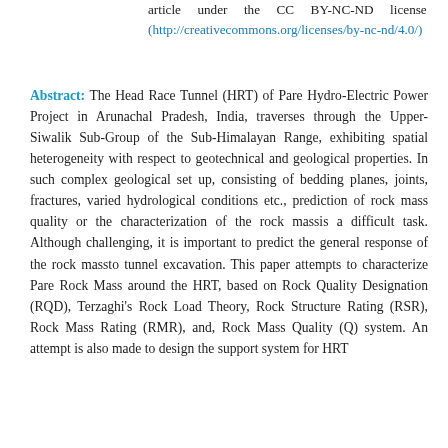article under the CC BY-NC-ND license (http://creativecommons.org/licenses/by-nc-nd/4.0/)
Abstract: The Head Race Tunnel (HRT) of Pare Hydro-Electric Power Project in Arunachal Pradesh, India, traverses through the Upper-Siwalik Sub-Group of the Sub-Himalayan Range, exhibiting spatial heterogeneity with respect to geotechnical and geological properties. In such complex geological set up, consisting of bedding planes, joints, fractures, varied hydrological conditions etc., prediction of rock mass quality or the characterization of the rock massis a difficult task. Although challenging, it is important to predict the general response of the rock massto tunnel excavation. This paper attempts to characterize Pare Rock Mass around the HRT, based on Rock Quality Designation (RQD), Terzaghi's Rock Load Theory, Rock Structure Rating (RSR), Rock Mass Rating (RMR), and, Rock Mass Quality (Q) system. An attempt is also made to design the support system for HRT